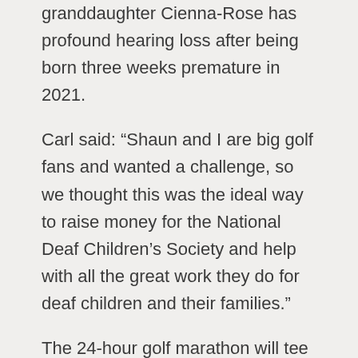granddaughter Cienna-Rose has profound hearing loss after being born three weeks premature in 2021.
Carl said: “Shaun and I are big golf fans and wanted a challenge, so we thought this was the ideal way to raise money for the National Deaf Children’s Society and help with all the great work they do for deaf children and their families.”
The 24-hour golf marathon will tee off at 6pm on Friday 5 August at the Richmond (Yorks) Golf Club. Carl added: “We are looking for donations however big or small as it would mean the world to us and make such a difference to the work of the charity.
“There is still time for people to support us with this challenge. We are looking for local companies to sponsor a hole for £50 or donate raffle prizes and if